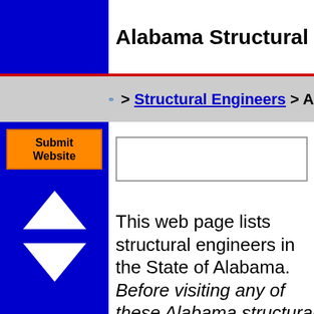Alabama Structural Engineers
> Structural Engineers > A
[Figure (other): Submit Website orange button]
[Figure (other): Up arrow triangle white on blue]
[Figure (other): Down arrow triangle white on blue]
This web page lists structural engineers in the State of Alabama. Before visiting any of these Alabama structural engineers, be sure to verify their address, hours of operation, an